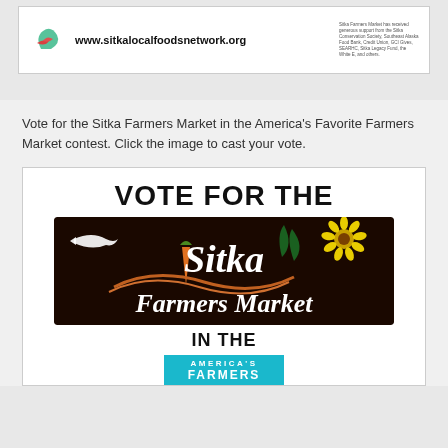[Figure (logo): Sitka Local Foods Network logo and website URL www.sitkalocalfoodsnetwork.org with small sponsor text]
Vote for the Sitka Farmers Market in the America's Favorite Farmers Market contest. Click the image to cast your vote.
[Figure (infographic): Vote for the Sitka Farmers Market promotional image. Large bold text 'VOTE FOR THE' above a dark sign reading 'Sitka Farmers Market' with fish, carrot, sunflower and plant illustrations. Below reads 'IN THE' and a teal box with 'AMERICA'S FARMERS']